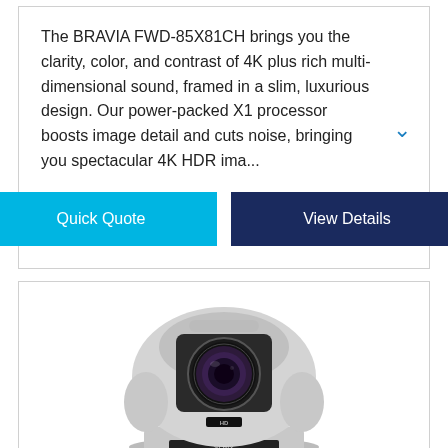The BRAVIA FWD-85X81CH brings you the clarity, color, and contrast of 4K plus rich multi-dimensional sound, framed in a slim, luxurious design. Our power-packed X1 processor boosts image detail and cuts noise, bringing you spectacular 4K HDR ima...
[Figure (screenshot): Two buttons: 'Quick Quote' (light blue) and 'View Details' (dark navy blue)]
[Figure (photo): Sony HD PTZ camera, silver/white colored, with large lens, mounted on a base with 'SONY' branding and 'HD' label on the front]
Sony - HD PTZ Camera 12x/12x opt/dig zoom